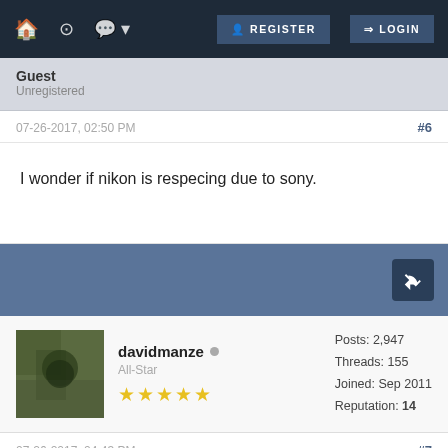REGISTER  LOGIN
Guest
Unregistered
07-26-2017, 02:50 PM  #6
I wonder if nikon is respecing due to sony.
davidmanze  All-Star  Posts: 2,947  Threads: 155  Joined: Sep 2011  Reputation: 14
07-26-2017, 04:43 PM  #7